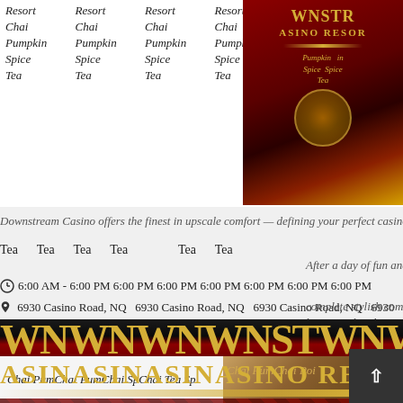| Col1 | Col2 | Col3 | Col4 |
| --- | --- | --- | --- |
| Resort | Resort | Resort | Resort |
| Chai | Chai | Chai | Chai |
| Pumpkin | Pumpkin | Pumpkin | Pumpkin |
| Spice | Spice | Spice | Spice |
| Tea | Tea | Tea | Tea |
[Figure (photo): WNS Casino Resort logo with red quilted background and gold text]
Downstream Casino offers the finest in upscale comfort
Tea  Tea  Tea  Tea  Tea  Tea
After a day of fun and an evening of complete stylish comfort when you luxurious hotel.
6:00 AM - 6:00 PM (or similar hours repeated)
6930 Casino Road, NQ (address repeated)
[Figure (photo): WNS Casino Resort banner repeated multiple times showing WNSTWNWNS CASINO REASINO text in gold on dark background with red quilted pattern]
Make you book only
Chai Pumpkin Spice Tea repeated
[Figure (photo): Interior photo of luxurious hotel room]